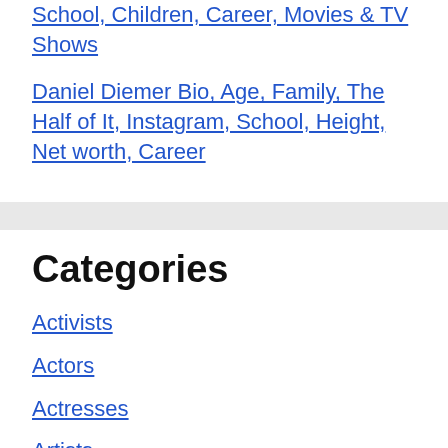School, Children, Career, Movies & TV Shows
Daniel Diemer Bio, Age, Family, The Half of It, Instagram, School, Height, Net worth, Career
Categories
Activists
Actors
Actresses
Artists
Authors
Biographies